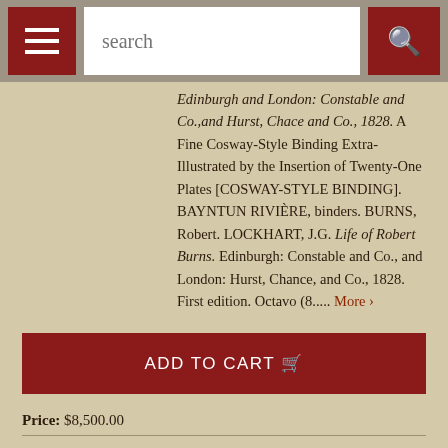search
Edinburgh and London: Constable and Co.,and Hurst, Chace and Co., 1828. A Fine Cosway-Style Binding Extra-Illustrated by the Insertion of Twenty-One Plates [COSWAY-STYLE BINDING]. BAYNTUN RIVIÈRE, binders. BURNS, Robert. LOCKHART, J.G. Life of Robert Burns. Edinburgh: Constable and Co., and London: Hurst, Chance, and Co., 1828. First edition. Octavo (8..... More ›
ADD TO CART
Price: $8,500.00
Item Details
Ask a Question